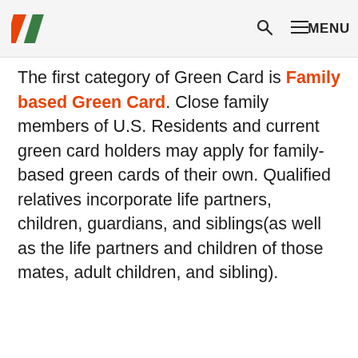HD [logo] | search | MENU
The first category of Green Card is Family based Green Card. Close family members of U.S. Residents and current green card holders may apply for family-based green cards of their own. Qualified relatives incorporate life partners, children, guardians, and siblings(as well as the life partners and children of those mates, adult children, and sibling).